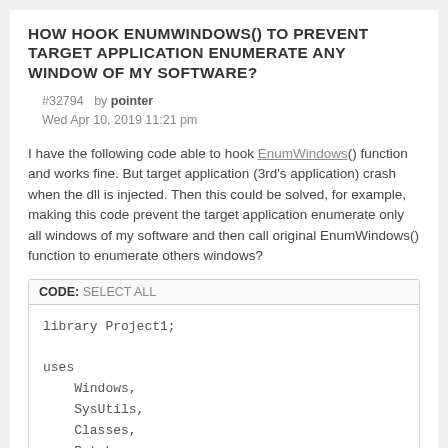HOW HOOK ENUMWINDOWS() TO PREVENT TARGET APPLICATION ENUMERATE ANY WINDOW OF MY SOFTWARE?
#32794  by pointer
Wed Apr 10, 2019 11:21 pm
I have the following code able to hook EnumWindows() function and works fine. But target application (3rd's application) crash when the dll is injected. Then this could be solved, for example, making this code prevent the target application enumerate only all windows of my software and then call original EnumWindows() function to enumerate others windows?
CODE: SELECT ALL

library Project1;

uses
    Windows,
    SysUtils,
    Classes,
    Patch;

[$R *.res]